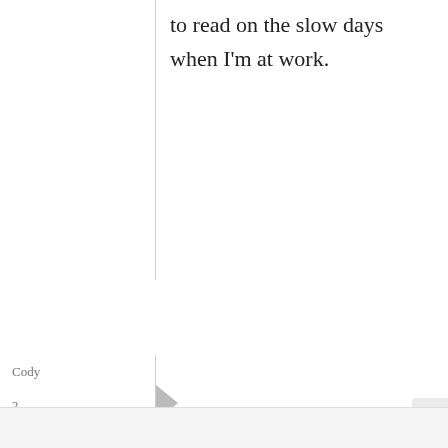to read on the slow days when I'm at work.
Cody
2 December, 2008 - 19:22
permalink
I found your site through
I found your site through Just Bento this year. I Love your sites and congrats on the